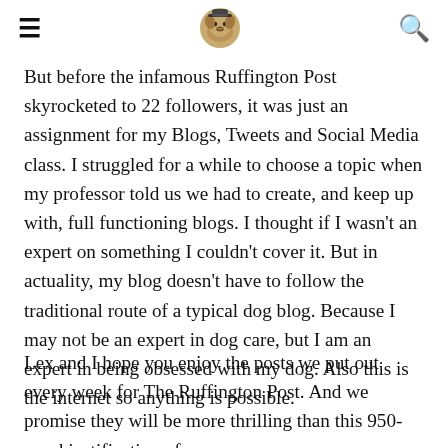≡ [pug logo] 🔍
But before the infamous Ruffington Post skyrocketed to 22 followers, it was just an assignment for my Blogs, Tweets and Social Media class. I struggled for a while to choose a topic when my professor told us we had to create, and keep up with, full functioning blogs. I thought if I wasn't an expert on something I couldn't cover it. But in actuality, my blog doesn't have to follow the traditional route of a typical dog blog. Because I may not be an expert in dog care, but I am an expert in being obsessed with my dog. Also this is the internet so anything is possible.
Lex and I hope you enjoy the posts we put out every week for The Ruffington Post. And we promise they will be more thrilling than this 950-word justification of my